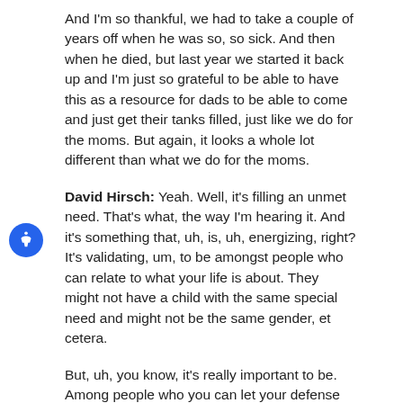And I'm so thankful, we had to take a couple of years off when he was so, so sick. And then when he died, but last year we started it back up and I'm just so grateful to be able to have this as a resource for dads to be able to come and just get their tanks filled, just like we do for the moms. But again, it looks a whole lot different than what we do for the moms.
David Hirsch: Yeah. Well, it's filling an unmet need. That's what, the way I'm hearing it. And it's something that, uh, is, uh, energizing, right? It's validating, um, to be amongst people who can relate to what your life is about. They might not have a child with the same special need and might not be the same gender, et cetera.
But, uh, you know, it's really important to be. Among people who you can let your defense down and be yourself because there's so many societal pressures, uh, they'll read subject to. I'm just thrilled to hear that you're able to carry on even after Jeff's illness, Jeff's